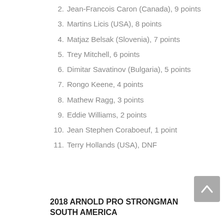2. Jean-Francois Caron (Canada), 9 points
3. Martins Licis (USA), 8 points
4. Matjaz Belsak (Slovenia), 7 points
5. Trey Mitchell, 6 points
6. Dimitar Savatinov (Bulgaria), 5 points
7. Rongo Keene, 4 points
8. Mathew Ragg, 3 points
9. Eddie Williams, 2 points
10. Jean Stephen Coraboeuf, 1 point
11. Terry Hollands (USA), DNF
2018 ARNOLD PRO STRONGMAN SOUTH AMERICA